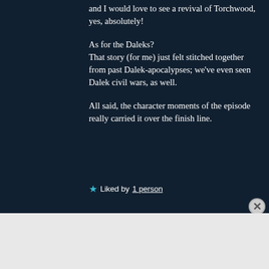and I would love to see a revival of Torchwood, yes, absolutely!
As for the Daleks?
That story (for me) just felt stitched together from past Dalek-apocalypses; we've even seen Dalek civil wars, as well.
All said, the character moments of the episode really carried it over the finish line.
Liked by 1 person
Advertisements